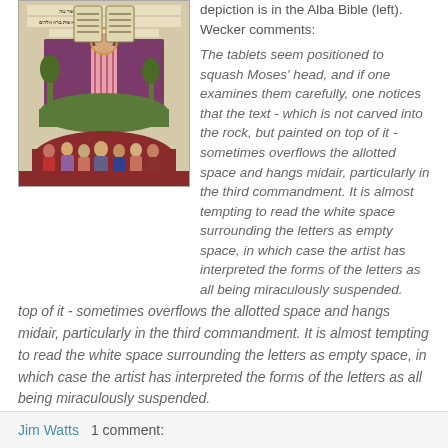[Figure (illustration): Medieval illuminated manuscript illustration from the Alba Bible showing Moses holding stone tablets above a group of people gathered below on a rocky mound, with trees in the background and Hebrew text on the tablets.]
depiction is in the Alba Bible (left). Wecker comments:
The tablets seem positioned to squash Moses' head, and if one examines them carefully, one notices that the text - which is not carved into the rock, but painted on top of it - sometimes overflows the allotted space and hangs midair, particularly in the third commandment. It is almost tempting to read the white space surrounding the letters as empty space, in which case the artist has interpreted the forms of the letters as all being miraculously suspended.
Jim Watts   1 comment: